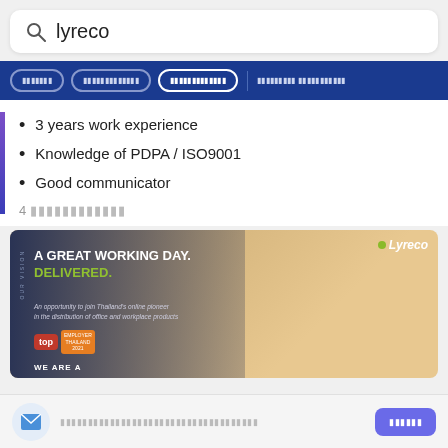lyreco
navigation buttons with Thai text
3 years work experience
Knowledge of PDPA / ISO9001
Good communicator
4 [Thai characters - days ago]
[Figure (photo): Lyreco banner advertisement: A GREAT WORKING DAY. DELIVERED. with two people high-fiving and Top Employer badge]
[Thai text - email subscription prompt]
[Thai text - subscribe button]